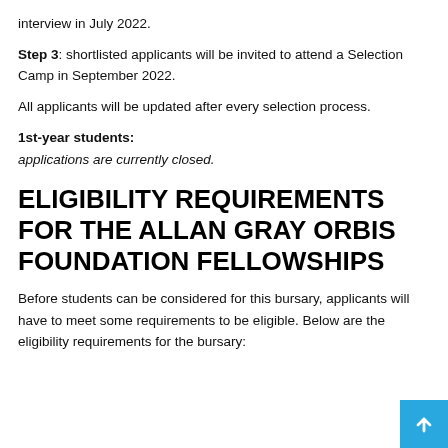interview in July 2022.
Step 3: shortlisted applicants will be invited to attend a Selection Camp in September 2022.
All applicants will be updated after every selection process.
1st-year students:
applications are currently closed.
ELIGIBILITY REQUIREMENTS FOR THE ALLAN GRAY ORBIS FOUNDATION FELLOWSHIPS
Before students can be considered for this bursary, applicants will have to meet some requirements to be eligible. Below are the eligibility requirements for the bursary: